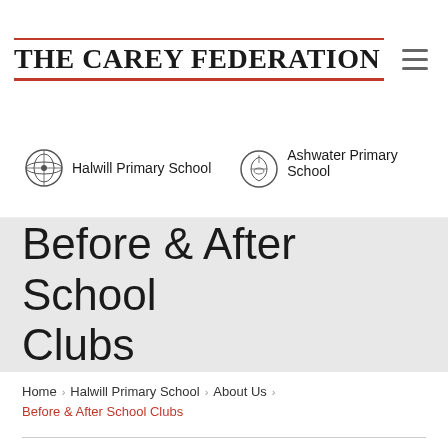THE CAREY FEDERATION
Halwill Primary School   Ashwater Primary School
Before & After School Clubs
Home › Halwill Primary School › About Us › Before & After School Clubs